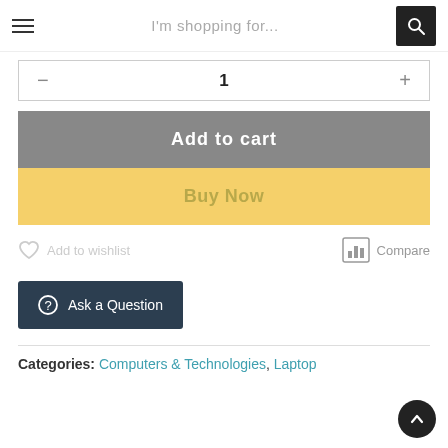I'm shopping for...
— 1 +
Add to cart
Buy Now
Add to wishlist   Compare
Ask a Question
Categories: Computers & Technologies, Laptop